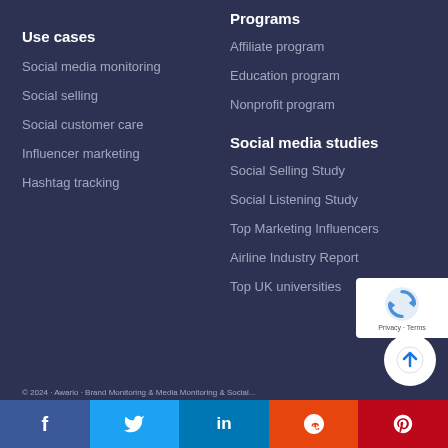Programs
Affiliate program
Education program
Nonprofit program
Use cases
Social media monitoring
Social selling
Social customer care
Influencer marketing
Hashtag tracking
Social media studies
Social Selling Study
Social Listening Study
Top Marketing Influencers
Airline Industry Report
Top UK universities
[Figure (logo): reCAPTCHA badge with Privacy and Terms text]
[Figure (other): Scroll to top circular button with upward arrow]
Facebook | Twitter | LinkedIn | Reddit | Pinterest social share bar